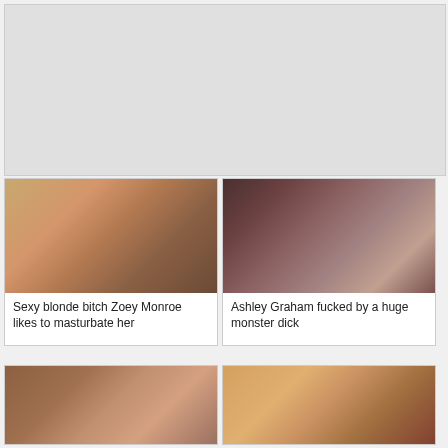[Figure (photo): Gray placeholder banner area at top of page]
[Figure (photo): Blonde woman performing oral sex]
Sexy blonde bitch Zoey Monroe likes to masturbate her
[Figure (photo): Woman being penetrated from behind in dark room]
Ashley Graham fucked by a huge monster dick
[Figure (photo): Red-haired woman with sunglasses outdoors]
[Figure (photo): Blonde woman performing oral sex closeup]